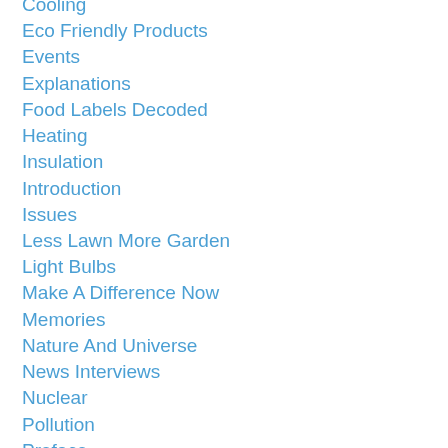Cooling
Eco Friendly Products
Events
Explanations
Food Labels Decoded
Heating
Insulation
Introduction
Issues
Less Lawn More Garden
Light Bulbs
Make A Difference Now
Memories
Nature And Universe
News Interviews
Nuclear
Pollution
Preface
Recycling
Solar
Solutions